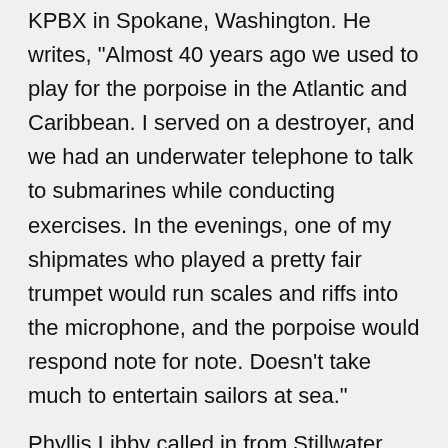KPBX in Spokane, Washington. He writes, "Almost 40 years ago we used to play for the porpoise in the Atlantic and Caribbean. I served on a destroyer, and we had an underwater telephone to talk to submarines while conducting exercises. In the evenings, one of my shipmates who played a pretty fair trumpet would run scales and riffs into the microphone, and the porpoise would respond note for note. Doesn't take much to entertain sailors at sea."
Phyllis Libby called in from Stillwater, Oklahoma, where she hears us on KOSU. Ms. Libby, a clinical researcher in child brain development, took note of our report on the work of Roger Masters, a sociologist who is examining the connection between heavy metal toxicity and violence. Ms. Libby says this type of research could have